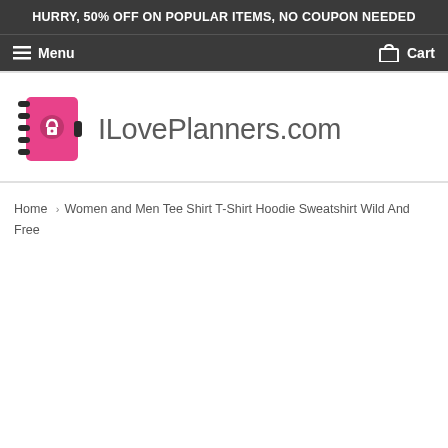HURRY, 50% OFF ON POPULAR ITEMS, NO COUPON NEEDED
Menu  Cart
[Figure (logo): ILovePlanners.com logo with pink planner icon on left and gray text ILovePlanners.com on right]
Home › Women and Men Tee Shirt T-Shirt Hoodie Sweatshirt Wild And Free